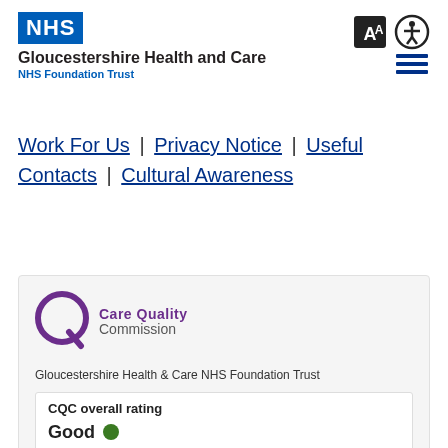NHS Gloucestershire Health and Care NHS Foundation Trust
Work For Us | Privacy Notice | Useful Contacts | Cultural Awareness
[Figure (logo): Care Quality Commission logo with purple Q icon and CQC text]
Gloucestershire Health & Care NHS Foundation Trust
CQC overall rating
Good ●